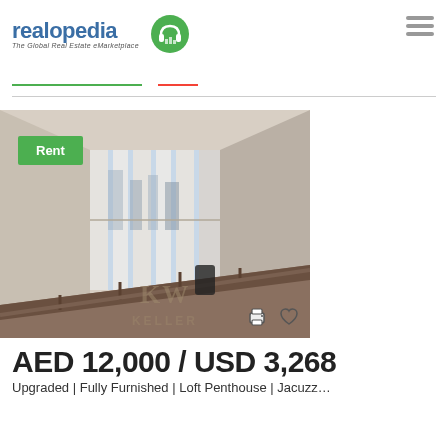[Figure (logo): Realopedia logo — text 'realopedia' in blue with a green headphone/city icon, tagline 'The Global Real Estate eMarketplace']
[Figure (photo): Interior photo of a loft penthouse room with tall floor-to-ceiling windows with white vertical curtains, city view glimpsed outside, warm beige walls, staircase railing in foreground. A green 'Rent' badge overlays the top-left corner. KW (Keller Williams) watermark in center. Print and heart icons at bottom-right.]
AED 12,000 / USD 3,268
Upgraded | Fully Furnished | Loft Penthouse | Jacuzzi